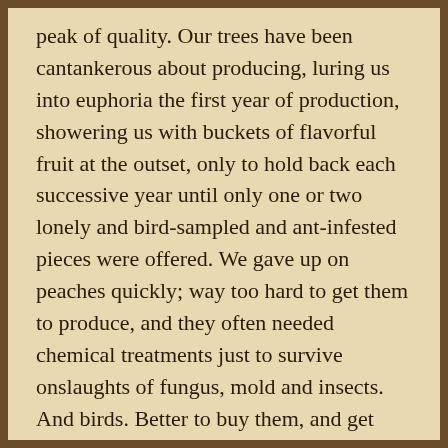peak of quality. Our trees have been cantankerous about producing, luring us into euphoria the first year of production, showering us with buckets of flavorful fruit at the outset, only to hold back each successive year until only one or two lonely and bird-sampled and ant-infested pieces were offered. We gave up on peaches quickly; way too hard to get them to produce, and they often needed chemical treatments just to survive onslaughts of fungus, mold and insects. And birds. Better to buy them, and get only the good ones. My granny always said, “Use the best first, and that way you always have the best!” And sometimes, only sometimes, the best fruit is at the store.
Figs! Never have I been so impressed by the generosity of a tree, a tree which requires no fertilizer, hardly any water, and only a cursory